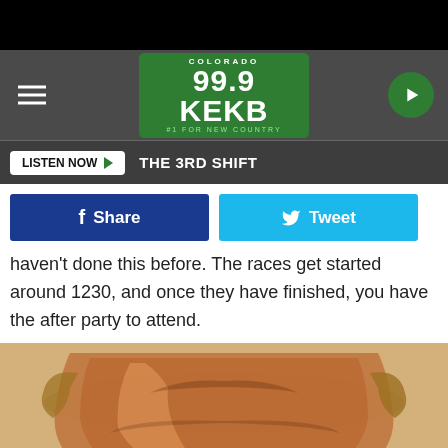[Figure (screenshot): Black top bar]
99.9 KEKB COLORADO #1 FOR NEW COUNTRY
LISTEN NOW ▶  THE 3RD SHIFT
[Figure (screenshot): Facebook Share and Twitter Tweet buttons]
haven't done this before. The races get started around 1230, and once they have finished, you have the after party to attend.
[Figure (photo): A copper/bronze trophy bowl photographed from above on a light beige background]